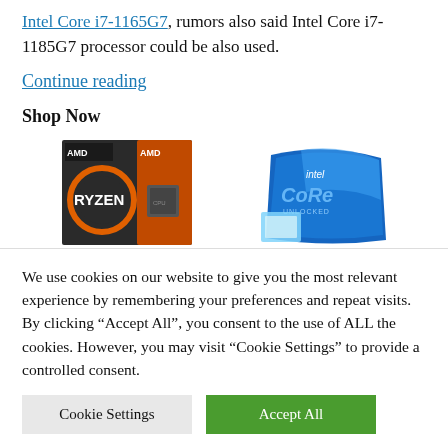Intel Core i7-1165G7, rumors also said Intel Core i7-1185G7 processor could be also used.
Continue reading
Shop Now
[Figure (photo): AMD Ryzen processor box product photo and Intel Core Unlocked processor box product photo side by side]
We use cookies on our website to give you the most relevant experience by remembering your preferences and repeat visits. By clicking "Accept All", you consent to the use of ALL the cookies. However, you may visit "Cookie Settings" to provide a controlled consent.